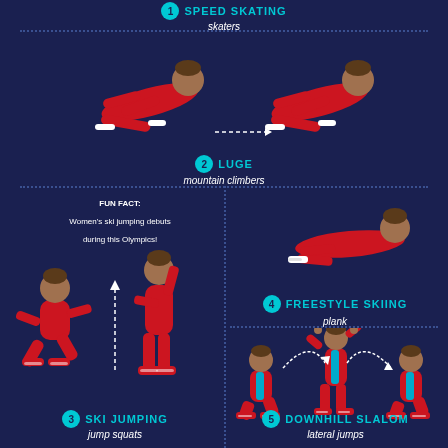1 SPEED SKATING
skaters
[Figure (illustration): Two figures in red suits in plank/skater position with dotted arrow between them]
2 LUGE
mountain climbers
FUN FACT: Women's ski jumping debuts during this Olympics!
[Figure (illustration): Freestyle skiing plank figure in red on right side]
4 FREESTYLE SKIING
plank
[Figure (illustration): Ski jumping figures showing squat to standing jump sequence on left side]
3 SKI JUMPING
jump squats
[Figure (illustration): Downhill slalom lateral jump figures on right side]
5 DOWNHILL SLALOM
lateral jumps